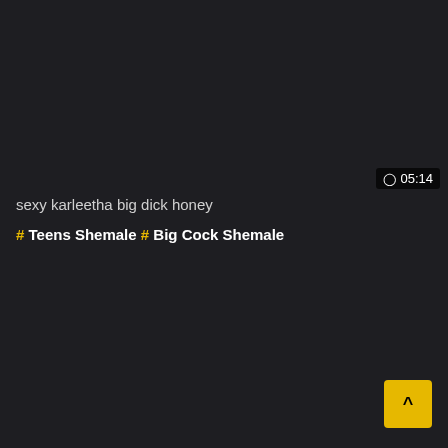⊙ 05:14
sexy karleetha big dick honey
# Teens Shemale # Big Cock Shemale